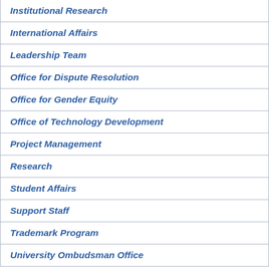Institutional Research
International Affairs
Leadership Team
Office for Dispute Resolution
Office for Gender Equity
Office of Technology Development
Project Management
Research
Student Affairs
Support Staff
Trademark Program
University Ombudsman Office